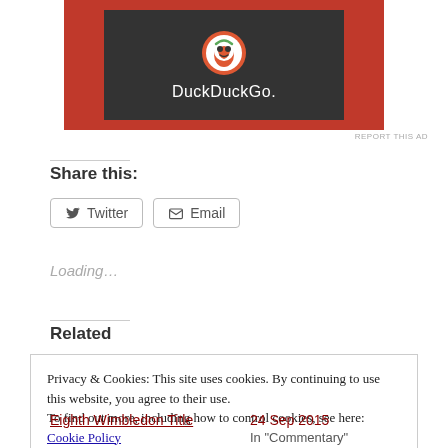[Figure (logo): DuckDuckGo logo on dark background inside orange/red ad banner]
REPORT THIS AD
Share this:
Twitter   Email
Loading…
Related
Privacy & Cookies: This site uses cookies. By continuing to use this website, you agree to their use.
To find out more, including how to control cookies, see here: Cookie Policy
Close and accept
Eighth Wimbledon Title
24 Sep 2015
In "Commentary"